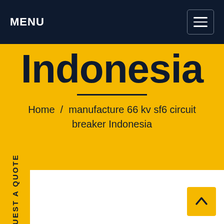MENU
Indonesia
Home / manufacture 66 kv sf6 circuit breaker Indonesia
REQUEST A QUOTE
[Figure (other): Back to top arrow button in yellow square]